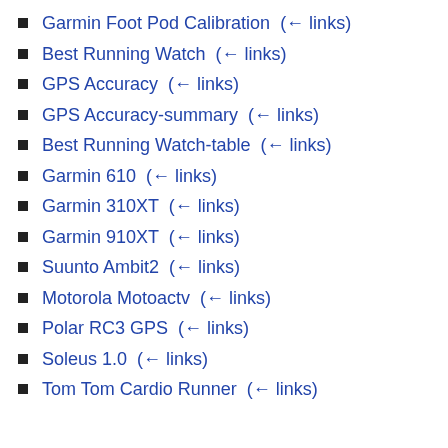Garmin Foot Pod Calibration  (← links)
Best Running Watch  (← links)
GPS Accuracy  (← links)
GPS Accuracy-summary  (← links)
Best Running Watch-table  (← links)
Garmin 610  (← links)
Garmin 310XT  (← links)
Garmin 910XT  (← links)
Suunto Ambit2  (← links)
Motorola Motoactv  (← links)
Polar RC3 GPS  (← links)
Soleus 1.0  (← links)
Tom Tom Cardio Runner  (← links)